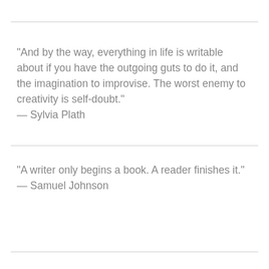“And by the way, everything in life is writable about if you have the outgoing guts to do it, and the imagination to improvise. The worst enemy to creativity is self-doubt.”
— Sylvia Plath
“A writer only begins a book. A reader finishes it.”
— Samuel Johnson